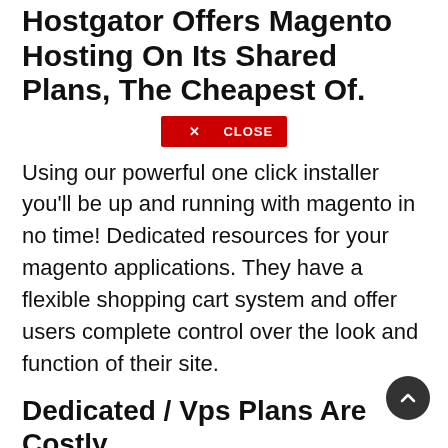Hostgator Offers Magento Hosting On Its Shared Plans, The Cheapest Of.
[Figure (other): Red close button with X CLOSE text]
Using our powerful one click installer you'll be up and running with magento in no time! Dedicated resources for your magento applications. They have a flexible shopping cart system and offer users complete control over the look and function of their site.
Dedicated / Vps Plans Are Costly.
Session and password expiration, using secure and up. We're tested 100% compatible with magento and have experts on hand for any issues you might have with getting your site up and running. Automatic os updates, package installation on request.
Choose A Plan Below To Get Started With